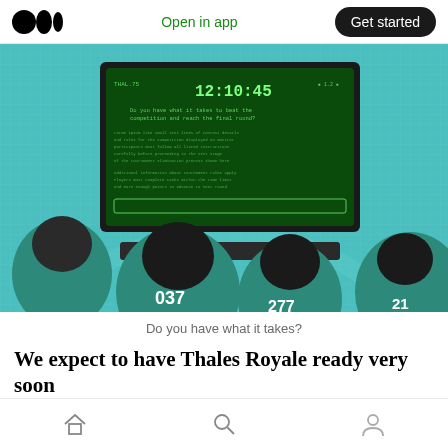Medium logo | Open in app | Get started
[Figure (photo): Scene from a Squid Game-like show: four contestants in teal jumpsuits (numbers 037, 277) viewed from behind, watching a large green screen monitor displaying a timer reading 12:10:45 and text asking 'Do you have what it takes to beat the competition and reach the final round?']
Do you have what it takes?
We expect to have Thales Royale ready very soon
for our test tournament. The first iteration of this
Home | Search | Profile